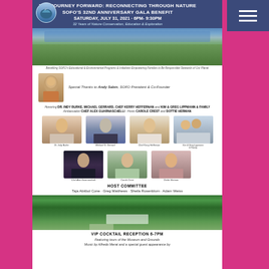THE JOURNEY FORWARD: RECONNECTING THROUGH NATURE
SOFO's 32nd ANNIVERSARY GALA BENEFIT
SATURDAY, JULY 31, 2021 · 6PM- 9:30PM
32 Years of Nature Conservation, Education & Exploration
[Figure (photo): Landscape nature photo showing fields and trees under a blue sky]
Benefiting SOFO's Educational & Environmental Programs & Initiatives Empowering Families to Be Responsible Stewards of Our Planet
Special Thanks to Andy Sabin, SOFO President & Co-Founder
Honoring DR. INDY BURKE, MICHAEL GERRARD, CHEF KERRY HEFFERNAN and KIM & GREG LIPPMANN & FAMILY
Ambassador CHEF ALEX GUARNASCHELLI · Hosts CAROLE CREST and DOTTIE HERMAN
[Figure (photo): Row of honoree photos: Dr. Indy Burke, Michael G. Gerrard, Chef Kerry Heffernan, Kim & Greg Lippmann & Family]
[Figure (photo): Row of photos: Chef Alex Guarnaschelli, Carole Crest, Dottie Herman]
HOST COMMITTEE
Taja Abitbol Cone · Greg Matthews · Sheila Rosenblum · Adam Weiss
[Figure (photo): Aerial photo of SOFO museum and grounds surrounded by trees]
VIP COCKTAIL RECEPTION 6-7PM
Featuring tours of the Museum and Grounds
Music by Alfredo Merat and a special guest appearance by